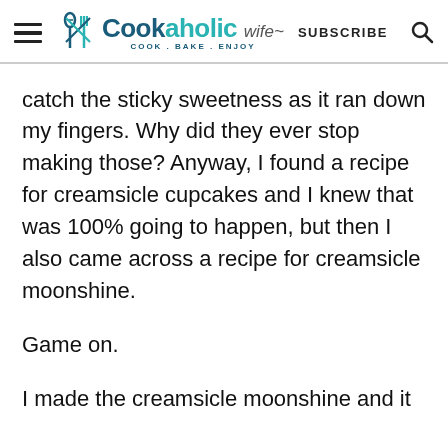Cookaholic Wife – COOK . BAKE . ENJOY – SUBSCRIBE
catch the sticky sweetness as it ran down my fingers. Why did they ever stop making those? Anyway, I found a recipe for creamsicle cupcakes and I knew that was 100% going to happen, but then I also came across a recipe for creamsicle moonshine.
Game on.
I made the creamsicle moonshine and it